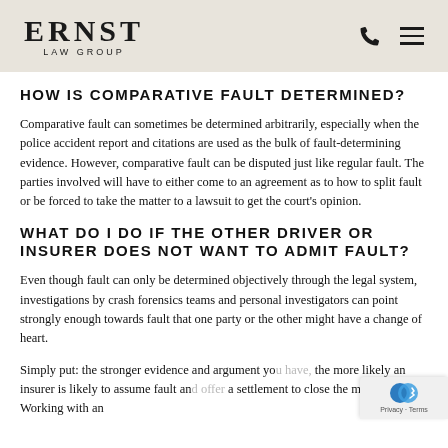ERNST LAW GROUP
HOW IS COMPARATIVE FAULT DETERMINED?
Comparative fault can sometimes be determined arbitrarily, especially when the police accident report and citations are used as the bulk of fault-determining evidence. However, comparative fault can be disputed just like regular fault. The parties involved will have to either come to an agreement as to how to split fault or be forced to take the matter to a lawsuit to get the court's opinion.
WHAT DO I DO IF THE OTHER DRIVER OR INSURER DOES NOT WANT TO ADMIT FAULT?
Even though fault can only be determined objectively through the legal system, investigations by crash forensics teams and personal investigators can point strongly enough towards fault that one party or the other might have a change of heart.
Simply put: the stronger evidence and argument you have, the more likely an insurer is likely to assume fault and offer a settlement to close the matter. Working with an